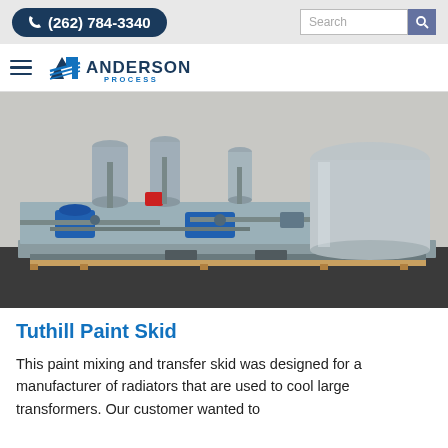(262) 784-3340 | Search
[Figure (logo): Anderson Process logo with hamburger menu icon]
[Figure (photo): Industrial paint mixing and transfer skid on a gray platform showing pumps, filters, pipes, and a large cylindrical tank]
Tuthill Paint Skid
This paint mixing and transfer skid was designed for a manufacturer of radiators that are used to cool large transformers. Our customer wanted to